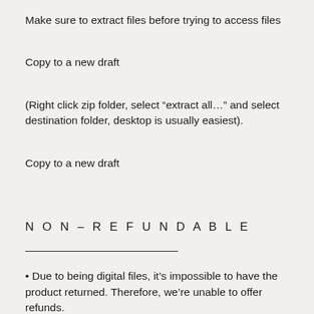Make sure to extract files before trying to access files
Copy to a new draft
(Right click zip folder, select “extract all…” and select destination folder, desktop is usually easiest).
Copy to a new draft
N O N – R E F U N D A B L E
• Due to being digital files, it’s impossible to have the product returned. Therefore, we’re unable to offer refunds.